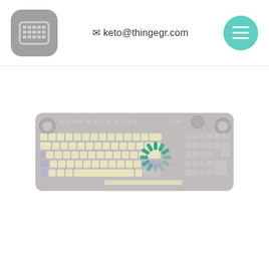keto@thingegr.com
[Figure (illustration): Screenshot of a keyboard configurator website. Header shows a keyboard icon logo on the left, email address 'keto@thingegr.com' in the center, and a teal hamburger menu button on the right. Main content shows a mechanical keyboard illustration (full-size, with cream/yellow keycaps and purple accent keys) with a green loading spinner overlaid on the right portion of the keyboard.]